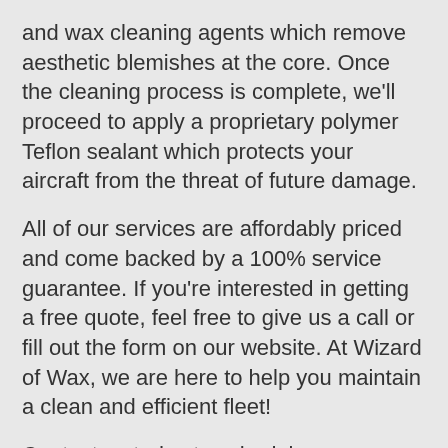and wax cleaning agents which remove aesthetic blemishes at the core. Once the cleaning process is complete, we'll proceed to apply a proprietary polymer Teflon sealant which protects your aircraft from the threat of future damage.
All of our services are affordably priced and come backed by a 100% service guarantee. If you're interested in getting a free quote, feel free to give us a call or fill out the form on our website. At Wizard of Wax, we are here to help you maintain a clean and efficient fleet!
Contact us today to schedule an appointment so you can experience the results that only The Wizard of Wax can deliver!